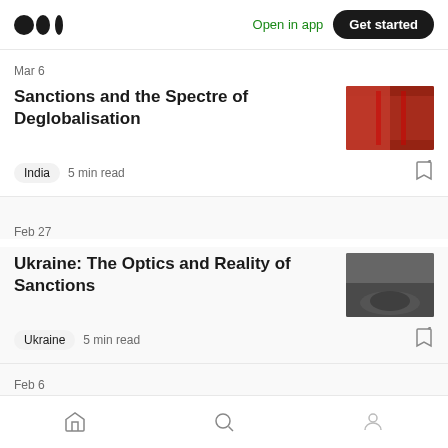Medium logo | Open in app | Get started
Mar 6
Sanctions and the Spectre of Deglobalisation
India  5 min read
Feb 27
Ukraine: The Optics and Reality of Sanctions
Ukraine  5 min read
Feb 6
Home | Search | Profile